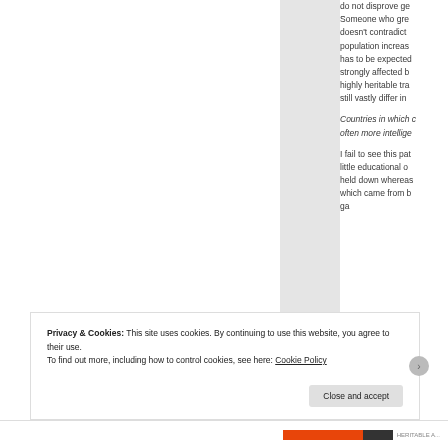do not disprove ge... Someone who gre... doesn't contradict... population increas... has to be expected... strongly affected b... highly heritable tra... still vastly differ in...
Countries in which c... often more intellige...
I fail to see this pat... little educational o... held down whereas... which came from b... ga...
Privacy & Cookies: This site uses cookies. By continuing to use this website, you agree to their use. To find out more, including how to control cookies, see here: Cookie Policy